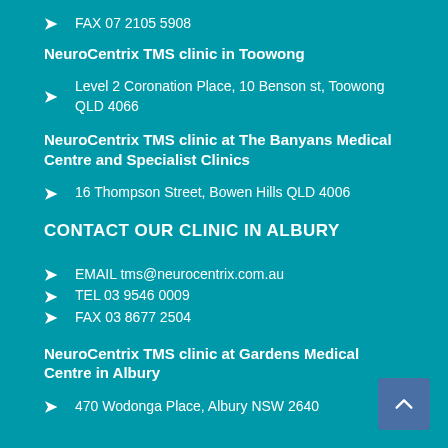FAX 07 2105 5908
NeuroCentrix TMS clinic in Toowong
Level 2 Coronation Place, 10 Benson st, Toowong QLD 4066
NeuroCentrix TMS clinic at The Banyans Medical Centre and Specialist Clinics
16 Thompson Street, Bowen Hills QLD 4006
CONTACT OUR CLINIC IN ALBURY
EMAIL tms@neurocentrix.com.au
TEL 03 9546 0009
FAX 03 8677 2504
NeuroCentrix TMS clinic at Gardens Medical Centre in Albury
470 Wodonga Place, Albury NSW 2640